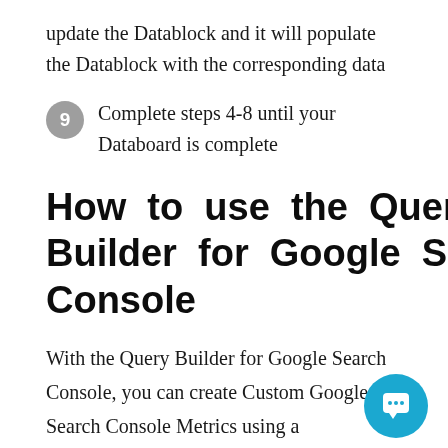update the Datablock and it will populate the Datablock with the corresponding data
9  Complete steps 4-8 until your Databoard is complete
How to use the Query Builder for Google Search Console
With the Query Builder for Google Search Console, you can create Custom Google Search Console Metrics using a combination of Metrics, Dimensions, and Filters. Some